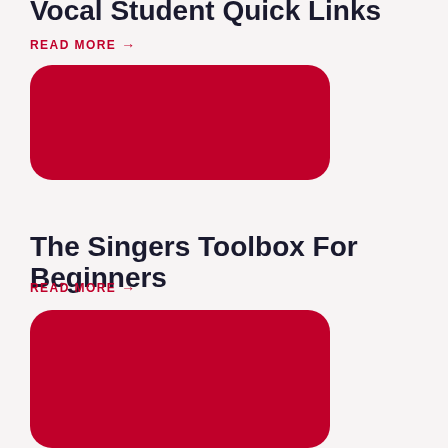Vocal Student Quick Links
READ MORE →
[Figure (illustration): Red rounded rectangle card image placeholder]
The Singers Toolbox For Beginners
READ MORE →
[Figure (illustration): Red rounded rectangle card image placeholder]